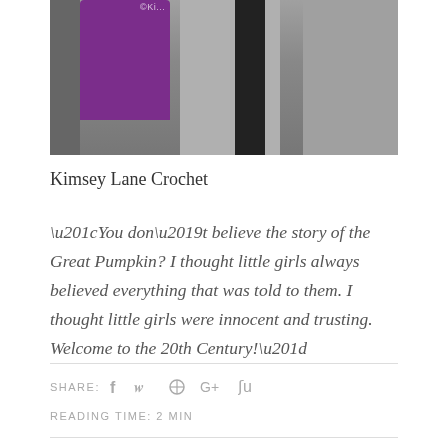[Figure (photo): Photo of person wearing a purple crochet item, gray coat, and colorful patterned clothing. Watermark reads ©Ki... in upper area.]
Kimsey Lane Crochet
“You don’t believe the story of the Great Pumpkin? I thought little girls always believed everything that was told to them. I thought little girls were innocent and trusting. Welcome to the 20th Century!”
SHARE: f  📸  📌  G+  St
READING TIME: 2 MIN